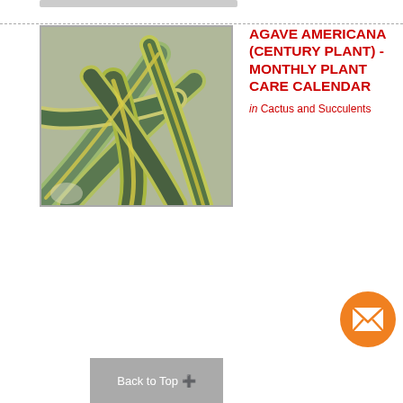[Figure (photo): Close-up photograph of Agave Americana (Century Plant) showing thick blue-green leaves with yellow striped edges curling and overlapping]
AGAVE AMERICANA (CENTURY PLANT) - MONTHLY PLANT CARE CALENDAR
in Cactus and Succulents
[Figure (other): Orange circular email/envelope button icon]
Back to Top